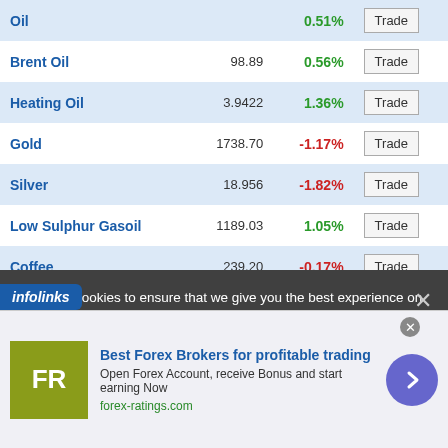| Name | Price | Change | Action |
| --- | --- | --- | --- |
| Oil |  | 0.51% | Trade |
| Brent Oil | 98.89 | 0.56% | Trade |
| Heating Oil | 3.9422 | 1.36% | Trade |
| Gold | 1738.70 | -1.17% | Trade |
| Silver | 18.956 | -1.82% | Trade |
| Low Sulphur Gasoil | 1189.03 | 1.05% | Trade |
| Coffee | 239.20 | -0.17% | Trade |
We use cookies to ensure that we give you the best experience on our website. If you continue to use this site we will assume that you are happy with it. We and our partners store and/or access information on a device, such as unique IDs in cookies to process personal data. You may accept or manage your choices by clicking below, including your right to object where legitimate interest is used, or at any time in the privacy policy page. These choices will be signalled to our partners and will not affect browsing data. We and our partners process data to provide: Use precise geolocation data. Actively scan device characteristics for identification. Store and/or
[Figure (advertisement): Best Forex Brokers ad banner with FR logo, text 'Best Forex Brokers for profitable trading', forex-ratings.com, and a blue arrow button]